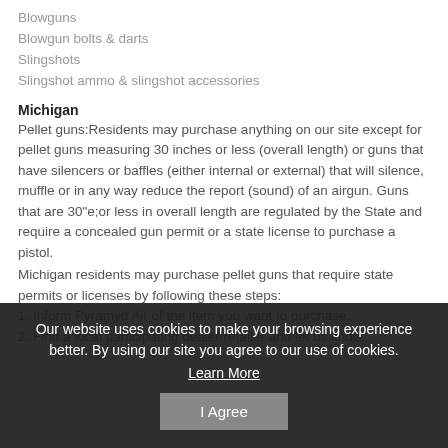Blowguns
Blowgun bolts & darts
Slingshots
Slingshot ammo & slingshot accessories
Michigan
Pellet guns:Residents may purchase anything on our site except for pellet guns measuring 30 inches or less (overall length) or guns that have silencers or baffles (either internal or external) that will silence, muffle or in any way reduce the report (sound) of an airgun. Guns that are 30"e;or less in overall length are regulated by the State and require a concealed gun permit or a state license to purchase a pistol.
Michigan residents may purchase pellet guns that require state permits or licenses by following these steps:
1. Inform Pyramyd Air of the item you want to purchase.
2. Find a local participating dealer/retailer and let us know.
Our website uses cookies to make your browsing experience better. By using our site you agree to our use of cookies.
Learn More
I Agree